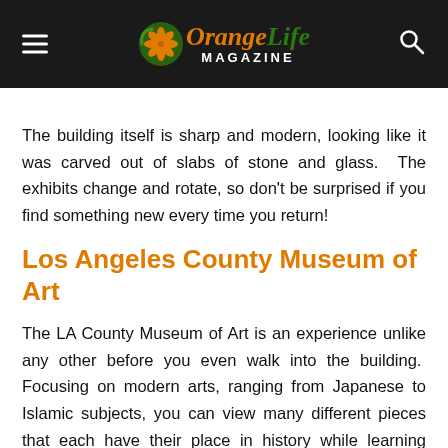Orange Life Magazine
The building itself is sharp and modern, looking like it was carved out of slabs of stone and glass.  The exhibits change and rotate, so don't be surprised if you find something new every time you return!
Los Angeles County Museum of Art
The LA County Museum of Art is an experience unlike any other before you even walk into the building.  Focusing on modern arts, ranging from Japanese to Islamic subjects, you can view many different pieces that each have their place in history while learning about the shifts in attitude towards art over the last thousand years.